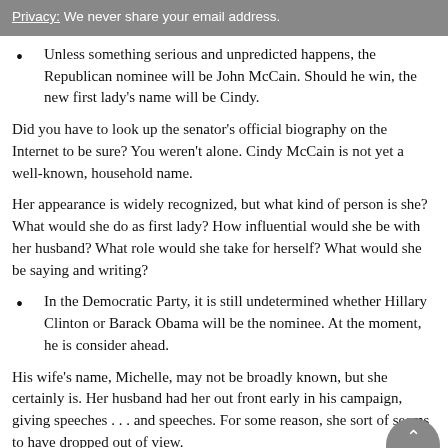Privacy: We never share your email address.
Unless something serious and unpredicted happens, the Republican nominee will be John McCain. Should he win, the new first lady's name will be Cindy.
Did you have to look up the senator's official biography on the Internet to be sure? You weren't alone. Cindy McCain is not yet a well-known, household name.
Her appearance is widely recognized, but what kind of person is she? What would she do as first lady? How influential would she be with her husband? What role would she take for herself? What would she be saying and writing?
In the Democratic Party, it is still undetermined whether Hillary Clinton or Barack Obama will be the nominee. At the moment, he is consider ahead.
His wife's name, Michelle, may not be broadly known, but she certainly is. Her husband had her out front early in his campaign, giving speeches . . . and speeches. For some reason, she sort of seems to have dropped out of view.
Could it have been something she said? Like not being proud of her country?
No doubt this lady has a lot to say. Question is, As first lady,